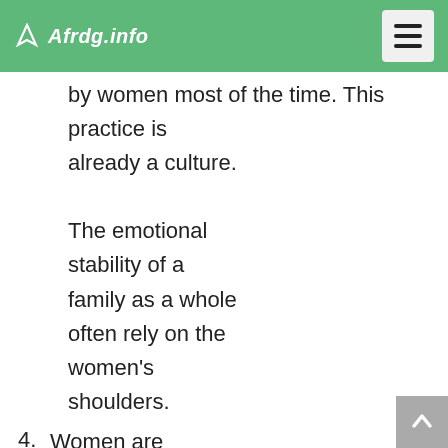Afrdg.info
by women most of the time. This practice is already a culture. The emotional stability of a family as a whole often rely on the women's shoulders.
4. Women are forgiving. They are always willing to absolve mistakes. They are strong enough to make allowances for wrong doings. This is because their love for the family weighs more